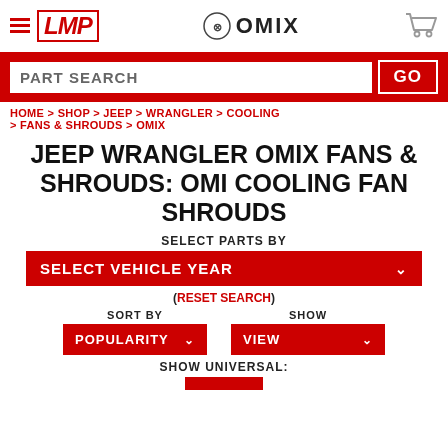LMP | OMIX
PART SEARCH | GO
HOME > SHOP > JEEP > WRANGLER > COOLING > FANS & SHROUDS > OMIX
JEEP WRANGLER OMIX FANS & SHROUDS: OMI COOLING FAN SHROUDS
SELECT PARTS BY
SELECT VEHICLE YEAR
(RESET SEARCH)
SORT BY
POPULARITY
SHOW
VIEW
SHOW UNIVERSAL: